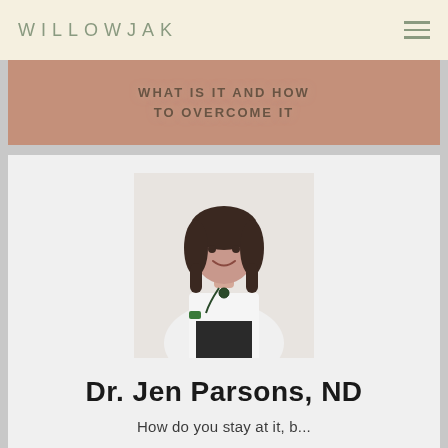WILLOWJAK
[Figure (photo): Banner image with text overlay reading WHAT IS IT AND HOW TO OVERCOME IT on a warm terracotta background]
[Figure (photo): Professional headshot of Dr. Jen Parsons, ND, a woman with long dark hair wearing a white coat/shirt with a stethoscope, smiling, standing against a light background]
Dr. Jen Parsons, ND
How do you stay at it, b...